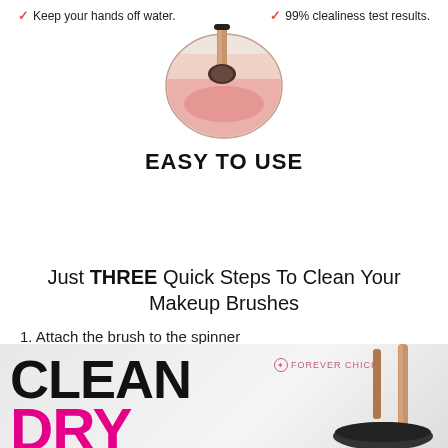✓ Keep your hands off water.  ✓ 99% clealiness test results.
[Figure (photo): A round glass bowl with a makeup brush inside, filled with pinkish water, showing brush cleaning in progress. Rose-gold and black brush handle visible at top.]
EASY TO USE
Just THREE Quick Steps To Clean Your Makeup Brushes
1. Attach the brush to the spinner
2. Pour water and soap into the bowl
3. Dip & Spin to Clean & Rinse and Then Spin to Dry.
[Figure (photo): Marketing banner with large bold text 'CLEAN' in black and 'DRY' in magenta/pink, with makeup brushes and a cleaning bowl visible on the right side. FOREVER CHICK logo in upper right.]